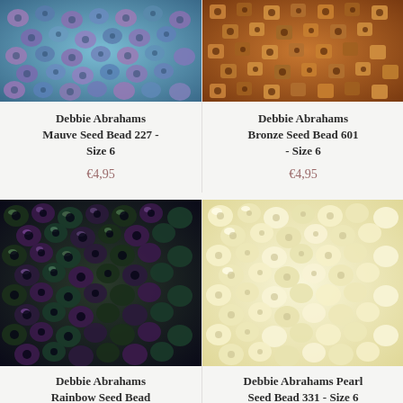[Figure (photo): Close-up photo of blue and mauve/purple seed beads (Debbie Abrahams Mauve Seed Bead 227, Size 6)]
Debbie Abrahams Mauve Seed Bead 227 - Size 6
€4,95
[Figure (photo): Close-up photo of bronze/copper metallic seed beads (Debbie Abrahams Bronze Seed Bead 601, Size 6)]
Debbie Abrahams Bronze Seed Bead 601 - Size 6
€4,95
[Figure (photo): Close-up photo of dark rainbow/iridescent seed beads in dark green, purple, bronze (Debbie Abrahams Rainbow Seed Bead)]
Debbie Abrahams Rainbow Seed Bead
[Figure (photo): Close-up photo of pale yellow/cream pearl seed beads (Debbie Abrahams Pearl Seed Bead 331, Size 6)]
Debbie Abrahams Pearl Seed Bead 331 - Size 6